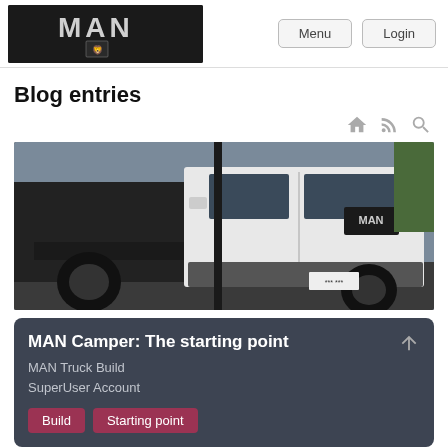MAN logo, Menu, Login
Blog entries
[Figure (photo): MAN truck chassis cab in white, parked outdoors, side and front view]
MAN Camper: The starting point
MAN Truck Build
SuperUser Account
[Build] [Starting point]